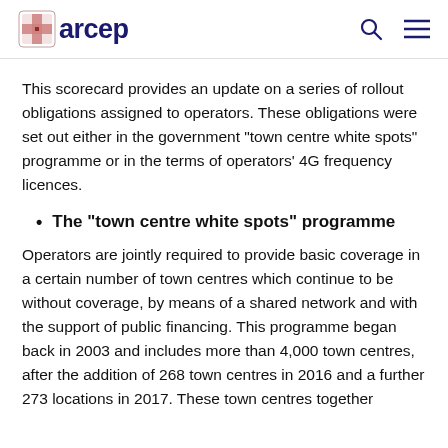arcep
This scorecard provides an update on a series of rollout obligations assigned to operators. These obligations were set out either in the government "town centre white spots" programme or in the terms of operators' 4G frequency licences.
The "town centre white spots" programme
Operators are jointly required to provide basic coverage in a certain number of town centres which continue to be without coverage, by means of a shared network and with the support of public financing. This programme began back in 2003 and includes more than 4,000 town centres, after the addition of 268 town centres in 2016 and a further 273 locations in 2017. These town centres together